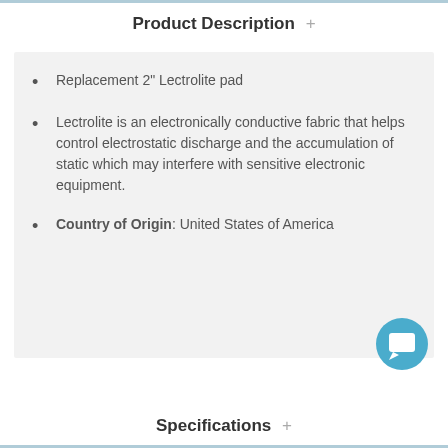Product Description +
Replacement 2" Lectrolite pad
Lectrolite is an electronically conductive fabric that helps control electrostatic discharge and the accumulation of static which may interfere with sensitive electronic equipment.
Country of Origin: United States of America
[Figure (illustration): Chat/support icon — circular teal button with white speech bubble icon]
Specifications +